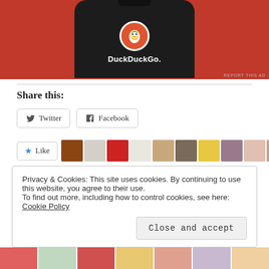[Figure (photo): DuckDuckGo app advertisement showing a smartphone with the DuckDuckGo logo and name on an orange/red background. 'REPORT THIS AD' text in bottom right corner.]
Share this:
Twitter  Facebook
Like  [avatar images]  22 bloggers like this.
Privacy & Cookies: This site uses cookies. By continuing to use this website, you agree to their use.
To find out more, including how to control cookies, see here: Cookie Policy
Close and accept